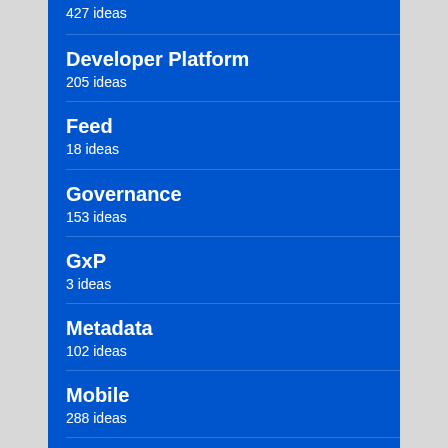427 ideas
Developer Platform
205 ideas
Feed
18 ideas
Governance
153 ideas
GxP
3 ideas
Metadata
102 ideas
Mobile
288 ideas
New UI